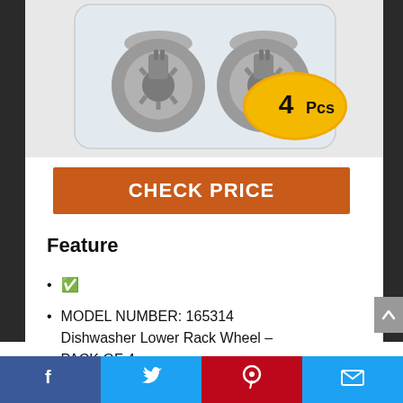[Figure (photo): Four gray dishwasher lower rack wheels shown in a clear plastic package with a yellow oval badge reading '4 Pcs']
CHECK PRICE
Feature
&#9989;
MODEL NUMBER: 165314 Dishwasher Lower Rack Wheel – PACK OF 4
Facebook | Twitter | Pinterest | Email